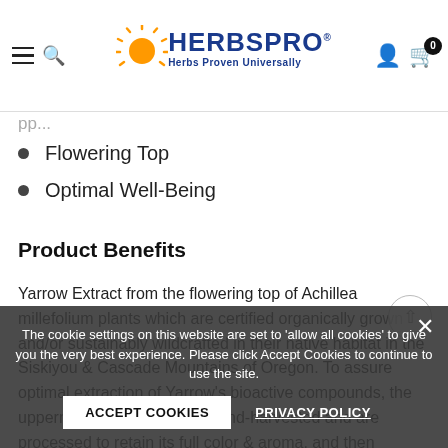HERBSPRO — Herbs Proven Universally (navigation header with hamburger menu, search, user icon, cart)
Flowering Top
Optimal Well-Being
Product Benefits
Yarrow Extract from the flowering top of Achillea millefolium plants which are certified organically grown and/or sustainably wildcrafted in their native habitat in the Siskiyou & Cascade Mountains of Oregon. To assure optimal extraction of Yarrow's bioactive compounds, the uppermost flowering top is hand-harvested and are processed to retain its full color & aroma, and then thoroughly extracted.
The cookie settings on this website are set to 'allow all cookies' to give you the very best experience. Please click Accept Cookies to continue to use the site.